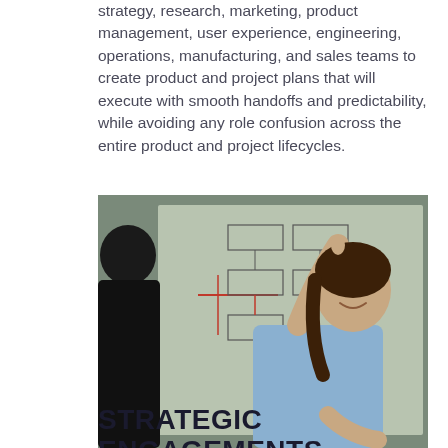strategy, research, marketing, product management, user experience, engineering, operations, manufacturing, and sales teams to create product and project plans that will execute with smooth handoffs and predictability, while avoiding any role confusion across the entire product and project lifecycles.
[Figure (photo): A woman in a light blue shirt smiling and pointing at a whiteboard covered with diagrams and notes, while another person (seen from behind, wearing a dark suit) observes.]
STRATEGIC ENGAGEMENTS